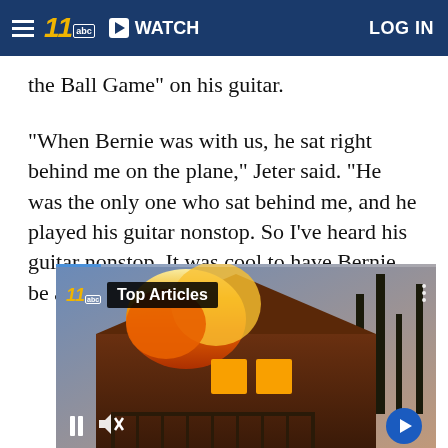WATCH  LOG IN
the Ball Game" on his guitar.
"When Bernie was with us, he sat right behind me on the plane," Jeter said. "He was the only one who sat behind me, and he played his guitar nonstop. So I've heard his guitar nonstop. It was cool to have Bernie be a part of it."
[Figure (screenshot): Video player showing a house fire with flames visible, labeled 'Top Articles' with playback controls at the bottom including pause button, mute icon, and next arrow.]